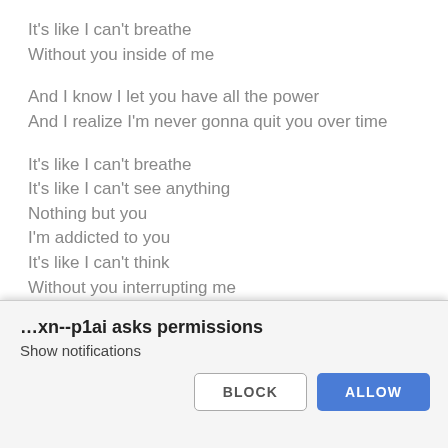It's like I can't breathe
Without you inside of me
And I know I let you have all the power
And I realize I'm never gonna quit you over time
It's like I can't breathe
It's like I can't see anything
Nothing but you
I'm addicted to you
It's like I can't think
Without you interrupting me
In my thoughts, in my dreams
You've taken over me
It's like I'm not me
…xn--p1ai asks permissions
Show notifications
BLOCK
ALLOW